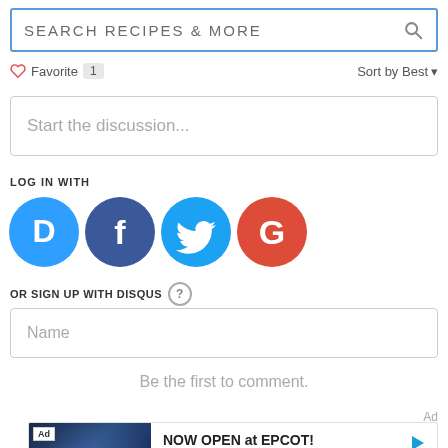SEARCH RECIPES & MORE
Favorite  1   Sort by Best
Start the discussion...
LOG IN WITH
[Figure (infographic): Social login icons: Disqus (blue), Facebook (dark blue), Twitter (light blue), Google (red)]
OR SIGN UP WITH DISQUS ?
Name
Be the first to comment.
[Figure (infographic): Advertisement banner: Ad badge, dark image with lights, NOW OPEN at EPCOT!, Walt Disney World, Learn more link, play button icon]